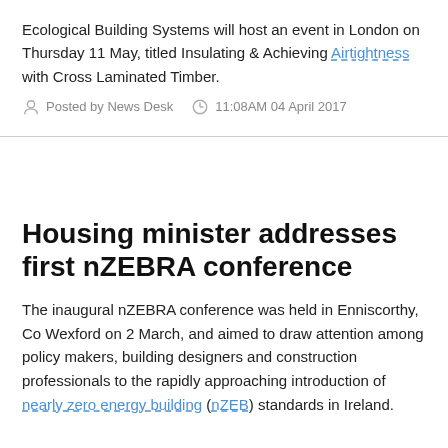Ecological Building Systems will host an event in London on Thursday 11 May, titled Insulating & Achieving Airtightness with Cross Laminated Timber.
Posted by News Desk   11:08AM 04 April 2017
Housing minister addresses first nZEBRA conference
The inaugural nZEBRA conference was held in Enniscorthy, Co Wexford on 2 March, and aimed to draw attention among policy makers, building designers and construction professionals to the rapidly approaching introduction of nearly zero energy building (nZEB) standards in Ireland.